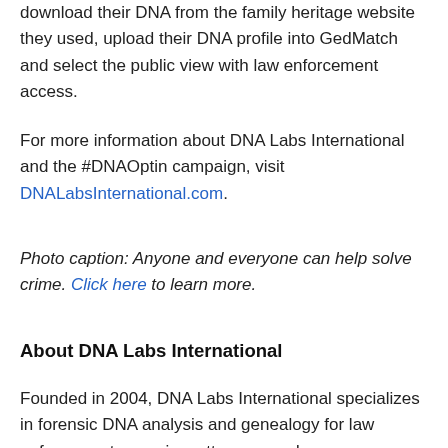download their DNA from the family heritage website they used, upload their DNA profile into GedMatch and select the public view with law enforcement access.
For more information about DNA Labs International and the #DNAOptin campaign, visit DNALabsInternational.com.
Photo caption: Anyone and everyone can help solve crime. Click here to learn more.
About DNA Labs International
Founded in 2004, DNA Labs International specializes in forensic DNA analysis and genealogy for law enforcement agencies, attorneys and